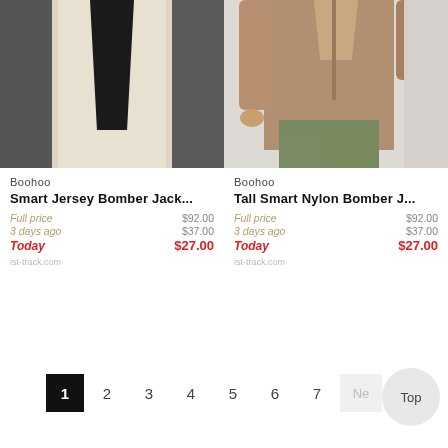[Figure (photo): Man wearing a cream/white zip-up jersey bomber jacket over a black t-shirt with light pants]
Boohoo
Smart Jersey Bomber Jack...
Full price $92.00
3 days ago $37.00
Today $27.00
ist-track.com
[Figure (photo): Man wearing a tan/brown nylon bomber jacket with olive green pants]
Boohoo
Tall Smart Nylon Bomber J...
Full price $92.00
3 days ago $37.00
Today $27.00
ist-track.com
1  2  3  4  5  6  7  Ne
Top